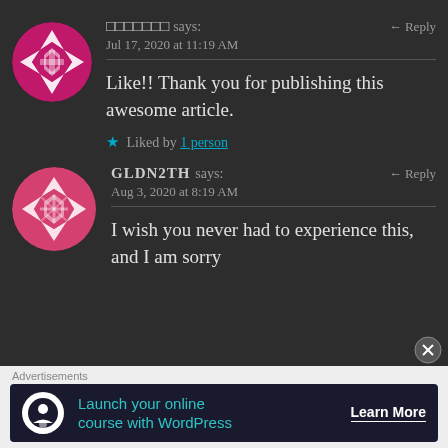[Figure (illustration): Circular avatar with magenta/pink geometric quilt pattern on dark background - first commenter]
□□□□□□□ says:
Jul 17, 2020 at 11:19 AM
Reply
Like!! Thank you for publishing this awesome article.
★ Liked by 1 person
[Figure (illustration): Circular avatar with pink/white geometric quilt star pattern on dark background - GLDN2TH commenter]
GLDN2TH says:
Aug 3, 2020 at 8:19 AM
Reply
I wish you never had to experience this, and I am sorry
Advertisements
Launch your online course with WordPress
Learn More